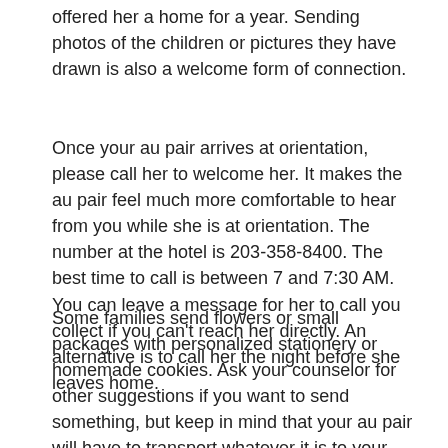offered her a home for a year. Sending photos of the children or pictures they have drawn is also a welcome form of connection.
Once your au pair arrives at orientation, please call her to welcome her. It makes the au pair feel much more comfortable to hear from you while she is at orientation. The number at the hotel is 203-358-8400. The best time to call is between 7 and 7:30 AM. You can leave a message for her to call you collect if you can't reach her directly. An alternative is to call her the night before she leaves home.
Some families send flowers or small packages with personalized stationery or homemade cookies. Ask your counselor for other suggestions if you want to send something, but keep in mind that your au pair will have to transport whatever it is to your house. Faxes can be received by the hotel and are also a nice way to say hello.